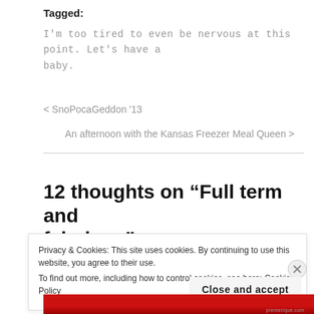Tagged:
I'm too tired to even be nervous at this point. Let's have a baby.
< SnoPocaGeddon '13
An afternoon with the Kansas Freezer Meal Queen >
12 thoughts on “Full term and fabulous”
Privacy & Cookies: This site uses cookies. By continuing to use this website, you agree to their use. To find out more, including how to control cookies, see here: Cookie Policy
Close and accept